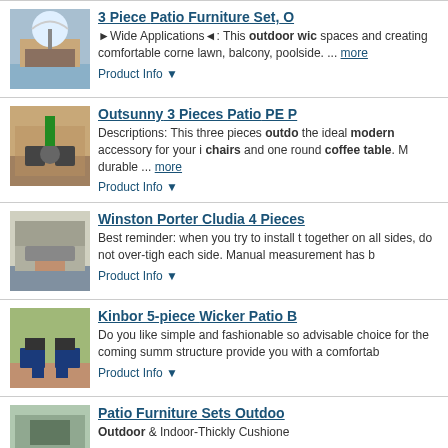[Figure (photo): Patio furniture set with umbrella and chairs near a pool]
3 Piece Patio Furniture Set, O
►Wide Applications◄: This outdoor wic spaces and creating comfortable corne lawn, balcony, poolside. ... more
Product Info ▾
[Figure (photo): Outsunny 3 pieces patio PE furniture with two chairs and round coffee table on a wooden deck]
Outsunny 3 Pieces Patio PE P
Descriptions: This three pieces outdo the ideal modern accessory for your i chairs and one round coffee table. M durable ... more
Product Info ▾
[Figure (photo): Winston Porter Cludia 4 piece outdoor patio furniture set on a patio with rug]
Winston Porter Cludia 4 Pieces
Best reminder: when you try to install t together on all sides, do not over-tigh each side. Manual measurement has b
Product Info ▾
[Figure (photo): Kinbor 5-piece wicker patio bistro set with blue cushions on a deck]
Kinbor 5-piece Wicker Patio B
Do you like simple and fashionable so advisable choice for the coming summ structure provide you with a comfortab
Product Info ▾
[Figure (photo): Patio Furniture Sets Outdoors product image]
Patio Furniture Sets Outdoo
Outdoor & Indoor-Thickly Cushione